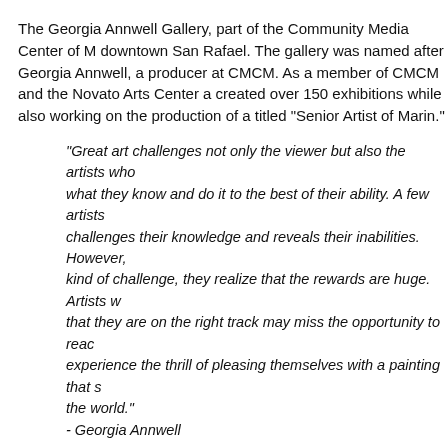The Georgia Annwell Gallery, part of the Community Media Center of M... downtown San Rafael. The gallery was named after Georgia Annwell, a... producer at CMCM. As a member of CMCM and the Novato Arts Center a... created over 150 exhibitions while also working on the production of a... titled "Senior Artist of Marin."
"Great art challenges not only the viewer but also the artists who... what they know and do it to the best of their ability. A few artists... challenges their knowledge and reveals their inabilities. However,... kind of challenge, they realize that the rewards are huge. Artists w... that they are on the right track may miss the opportunity to reac... experience the thrill of pleasing themselves with a painting that s... the world." - Georgia Annwell
The gallery helps to advance CMCM's mission of promoting cultural arts... engagement by showcasing the work of established and emerging aristi... artist talks, film screenings, art performances, and social events enhance... supporting further opportunities for conversations to take place.
Artists interested in exhibiting their work in the Georgia Annwell Gallery... Application Form and submit 4-5 high-resolution images to info@cmcm.t...
Selection Process: Once an artist has submitted all materials, the app...